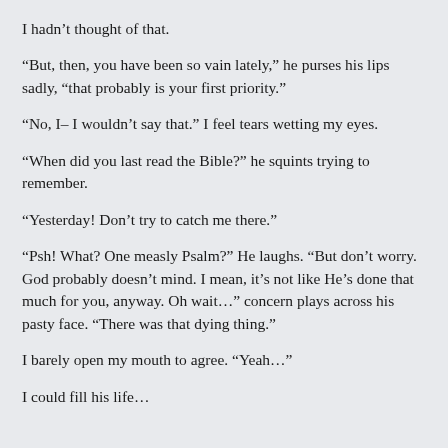I hadn't thought of that.
“But, then, you have been so vain lately,” he purses his lips sadly, “that probably is your first priority.”
“No, I– I wouldn’t say that.” I feel tears wetting my eyes.
“When did you last read the Bible?” he squints trying to remember.
“Yesterday! Don’t try to catch me there.”
“Psh! What? One measly Psalm?” He laughs. “But don’t worry. God probably doesn’t mind. I mean, it’s not like He’s done that much for you, anyway. Oh wait…” concern plays across his pasty face. “There was that dying thing.”
I barely open my mouth to agree. “Yeah…”
I could fill his life…